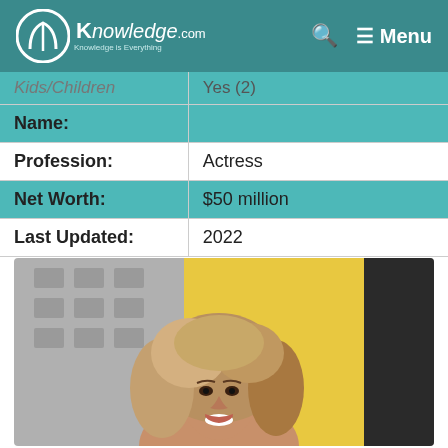AKnowledge.com — Knowledge is Everything | Search | Menu
| Field | Value |
| --- | --- |
| Kids/Children | Yes (2) |
| Name: |  |
| Profession: | Actress |
| Net Worth: | $50 million |
| Last Updated: | 2022 |
[Figure (photo): Portrait photo of a woman with voluminous blonde-brown hair, smiling, in front of a yellow and grey background]